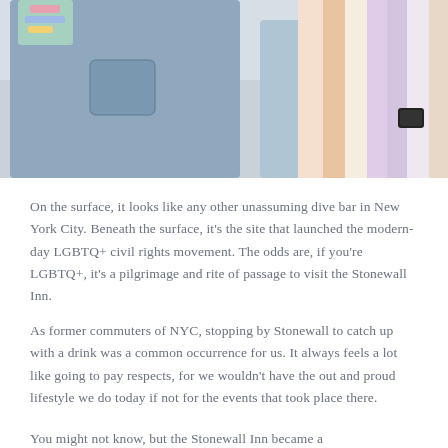[Figure (photo): Photo showing two people from the waist down, wearing light-wash denim jeans. One person holds a rainbow-striped cloth or flag draped over their shoulder. A colorful card or item is visible in the upper left corner.]
On the surface, it looks like any other unassuming dive bar in New York City. Beneath the surface, it's the site that launched the modern-day LGBTQ+ civil rights movement. The odds are, if you're LGBTQ+, it's a pilgrimage and rite of passage to visit the Stonewall Inn.
As former commuters of NYC, stopping by Stonewall to catch up with a drink was a common occurrence for us. It always feels a lot like going to pay respects, for we wouldn't have the out and proud lifestyle we do today if not for the events that took place there.
You might not know, but the Stonewall Inn became a